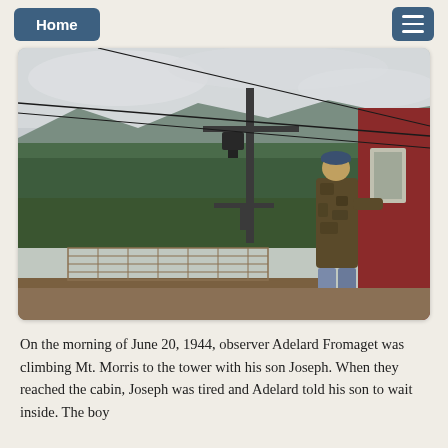Home [menu button]
[Figure (photo): A person in camouflage jacket and jeans stands on an elevated platform or ski lift station, looking out over a vast forested landscape with lakes and mountains visible in the background. Ski lift cables and a metal tower are visible. A red building is on the right side. Overcast sky.]
On the morning of June 20, 1944, observer Adelard Fromaget was climbing Mt. Morris to the tower with his son Joseph. When they reached the cabin, Joseph was tired and Adelard told his son to wait inside. The boy